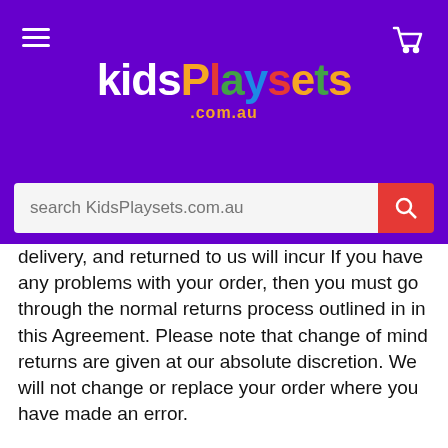[Figure (logo): KidsPlaysets.com.au logo with colorful lettering on purple header background, hamburger menu icon on left, cart icon on right]
search KidsPlaysets.com.au
delivery, and returned to us will incur  If you have any problems with your order, then you must go through the normal returns process outlined in in this Agreement. Please note that change of mind returns are given at our absolute discretion. We will not change or replace your order where you have made an error.
7.9 Please note: Post-dispatch, orders that are undeliverable [due to an address error supplied by the purchaser; or refusal to accept delivery] and returned to KidsPlaysets.com.au [or authorised supplier] will be refunded less the full cost of delivery, plus a 25% re-stocking fee. A minimum re-stocking fee of $25.00AUD